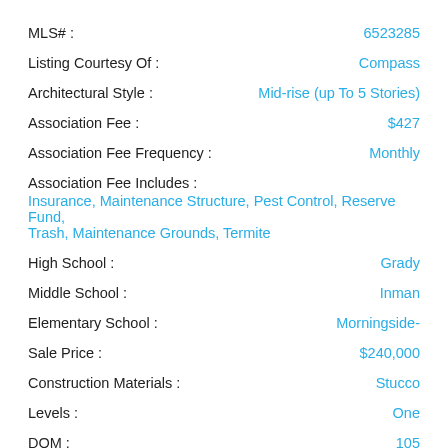| Field | Value |
| --- | --- |
| MLS# : | 6523285 |
| Listing Courtesy Of : | Compass |
| Architectural Style : | Mid-rise (up To 5 Stories) |
| Association Fee : | $427 |
| Association Fee Frequency : | Monthly |
| Association Fee Includes : | Insurance, Maintenance Structure, Pest Control, Reserve Fund, Trash, Maintenance Grounds, Termite |
| High School : | Grady |
| Middle School : | Inman |
| Elementary School : | Morningside- |
| Sale Price : | $240,000 |
| Construction Materials : | Stucco |
| Levels : | One |
| DOM : | 105 |